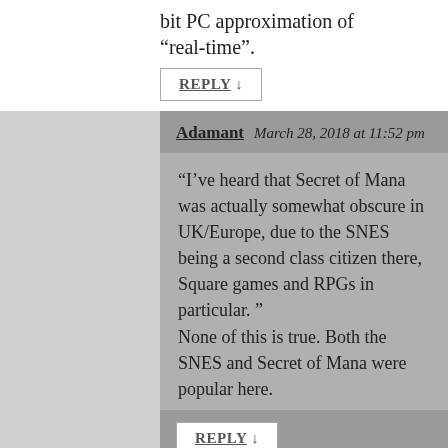bit PC approximation of “real-time”.
REPLY ↓
Adamant  March 28, 2018 at 11:52 pm
“I’ve heard that Secret of Mana was actually somewhat obscure in UK/Europe, due to the SNES being a second class citizen there, Square games and RPGs in particular. ”
None of this is true. Both the SNES and Secret of Mana were popular here.
REPLY ↓
Nitro Indigo  July 27, 2018 at 8:13 am
In fact, Secret of Mana was one of the few SNES RPGs to come to Europe.